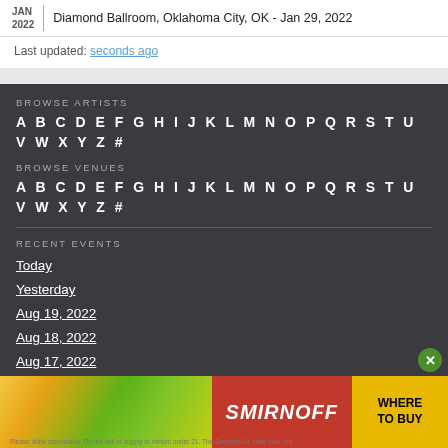2022 | Diamond Ballroom, Oklahoma City, OK - Jan 29, 2022
Last updated: seconds ago
BROWSE ARTISTS
A B C D E F G H I J K L M N O P Q R S T U V W X Y Z #
BROWSE VENUES
A B C D E F G H I J K L M N O P Q R S T U V W X Y Z #
RECENT EVENTS
Today
Yesterday
Aug 19, 2022
Aug 18, 2022
Aug 17, 2022
Aug 16, 2022
Aug 15, 2022
[Figure (photo): Smirnoff advertisement banner with colorful cans, Smirnoff logo in red, and 'WHERE TO BUY' yellow button]